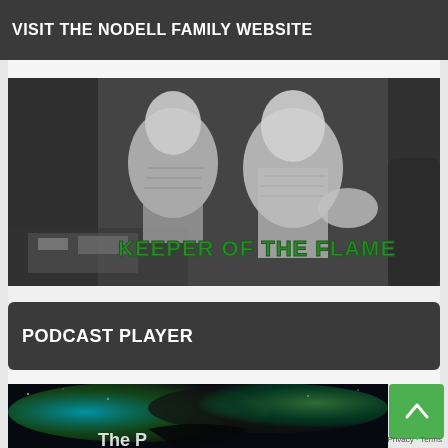VISIT THE NODELL FAMILY WEBSITE
[Figure (photo): Black and white photo of two people at a table, with green text overlay reading 'KEEPER OF THE FLAME']
PODCAST PLAYER
[Figure (photo): Colorful space/nebula themed image with green and teal colors, partially visible at bottom of page]
Privacy · Terms